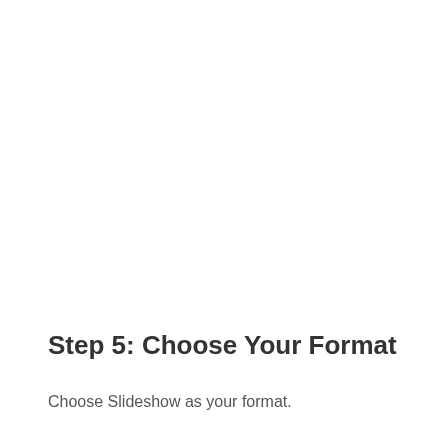Step 5: Choose Your Format
Choose Slideshow as your format.